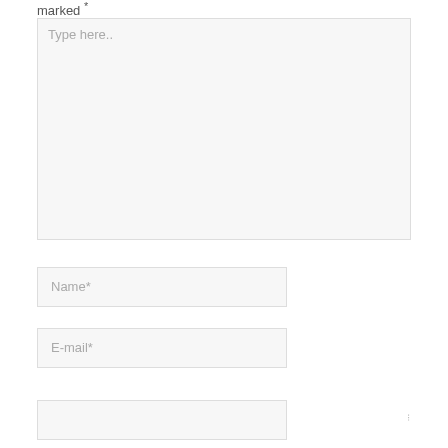marked *
[Figure (other): Large text area input field with placeholder text 'Type here..' and a resize handle at the bottom right]
[Figure (other): Name input field with placeholder 'Name*']
[Figure (other): E-mail input field with placeholder 'E-mail*']
[Figure (other): Website input field (partially visible at bottom)]